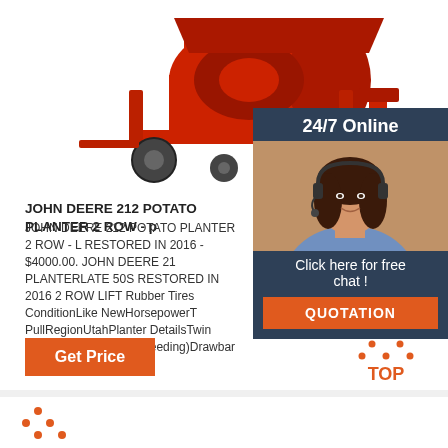[Figure (photo): Red John Deere 212 potato planter farm machine on white background]
[Figure (photo): 24/7 Online chat overlay panel with woman wearing headset, dark navy background, 'Click here for free chat!' text and orange QUOTATION button]
JOHN DEERE 212 POTATO PLANTER 2 ROW - p
JOHN DEERE 212 POTATO PLANTER 2 ROW - L RESTORED IN 2016 - $4000.00. JOHN DEERE 21 PLANTERLATE 50S RESTORED IN 2016 2 ROW LIFT Rubber Tires ConditionLike NewHorsepowerT PullRegionUtahPlanter DetailsTwin RowHitch (Planting & Seeding)Drawbar 272213540572
[Figure (logo): Orange dotted triangle TOP logo icon]
[Figure (photo): Bottom card with orange logo partial view]